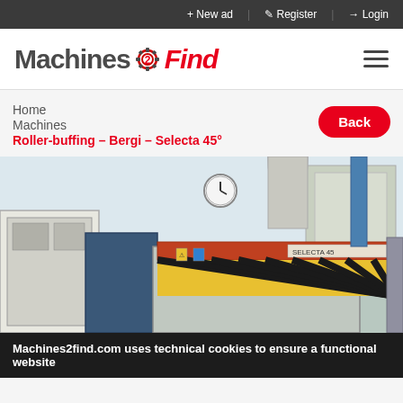+ New ad | Register | Login
[Figure (logo): Machines2Find logo with gear icon and red italic 'Find' text]
Home
Machines
Roller-buffing – Bergi – Selecta 45°
Back
[Figure (photo): Industrial roller-buffing machine (Bergi Selecta 45°) in a factory setting, with control panels, yellow-black hazard stripes, ducting, and wall clock visible.]
Machines2find.com uses technical cookies to ensure a functional website